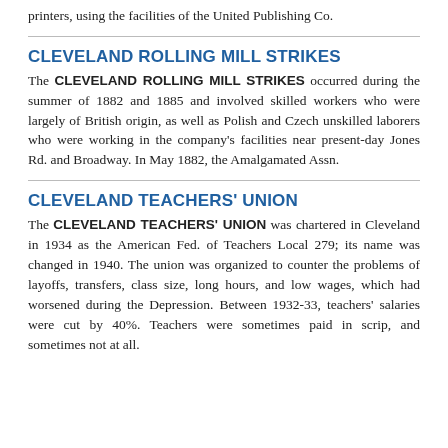printers, using the facilities of the United Publishing Co.
CLEVELAND ROLLING MILL STRIKES
The CLEVELAND ROLLING MILL STRIKES occurred during the summer of 1882 and 1885 and involved skilled workers who were largely of British origin, as well as Polish and Czech unskilled laborers who were working in the company's facilities near present-day Jones Rd. and Broadway. In May 1882, the Amalgamated Assn.
CLEVELAND TEACHERS' UNION
The CLEVELAND TEACHERS' UNION was chartered in Cleveland in 1934 as the American Fed. of Teachers Local 279; its name was changed in 1940. The union was organized to counter the problems of layoffs, transfers, class size, long hours, and low wages, which had worsened during the Depression. Between 1932-33, teachers' salaries were cut by 40%. Teachers were sometimes paid in scrip, and sometimes not at all.